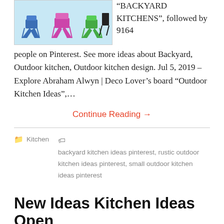[Figure (illustration): Illustration of outdoor folding chairs in various colors (blue, pink, green) against a light blue background]
“BACKYARD KITCHENS”, followed by 9164 people on Pinterest. See more ideas about Backyard, Outdoor kitchen, Outdoor kitchen design. Jul 5, 2019 – Explore Abraham Alwyn | Deco Lover’s board “Outdoor Kitchen Ideas”,…
Continue Reading →
Kitchen   backyard kitchen ideas pinterest, rustic outdoor kitchen ideas pinterest, small outdoor kitchen ideas pinterest
New Ideas Kitchen Ideas Open